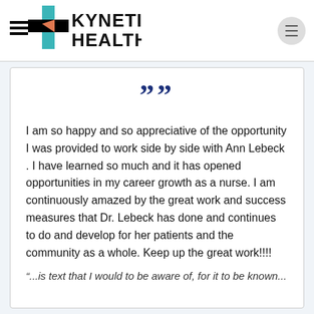Kynetic Health
[Figure (logo): Kynetic Health logo with teal and orange cross icon and bold black text]
" " (quotation mark icon)
I am so happy and so appreciative of the opportunity I was provided to work side by side with Ann Lebeck . I have learned so much and it has opened opportunities in my career growth as a nurse. I am continuously amazed by the great work and success measures that Dr. Lebeck has done and continues to do and develop for her patients and the community as a whole. Keep up the great work!!!!
" ...is text that I would be aware of, for it to be known..." (partially cut off)